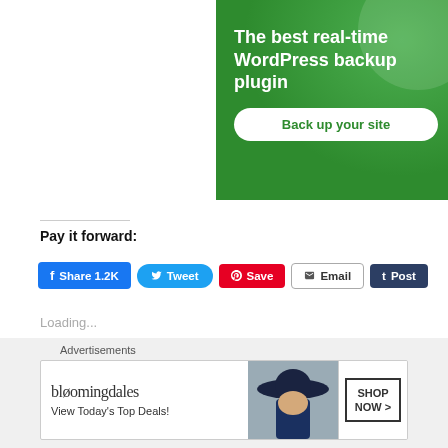[Figure (screenshot): Green advertisement banner for WordPress backup plugin with text 'The best real-time WordPress backup plugin' and a white button 'Back up your site']
Pay it forward:
[Figure (screenshot): Social sharing buttons row: Facebook Share 1.2K, Tweet, Pinterest Save, Email, Tumblr Post]
Loading...
[Figure (screenshot): Bloomingdales advertisement banner: 'View Today's Top Deals!' with SHOP NOW button and woman in hat image]